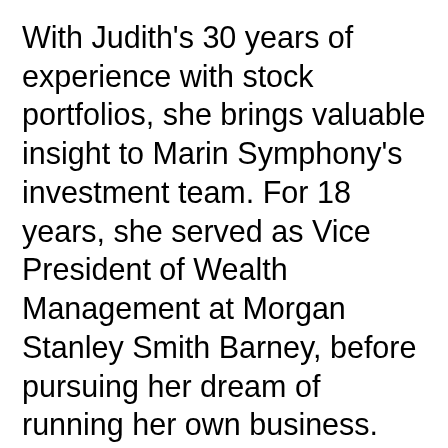With Judith's 30 years of experience with stock portfolios, she brings valuable insight to Marin Symphony's investment team. For 18 years, she served as Vice President of Wealth Management at Morgan Stanley Smith Barney, before pursuing her dream of running her own business. She has served on Marin Symphony Special Events, Development, Investment, and Executive Committees, and on the board of directors since 2011. Judith is a graduate of Portland State University, and lives in San Rafael with her husband, Bruce, and King Charles